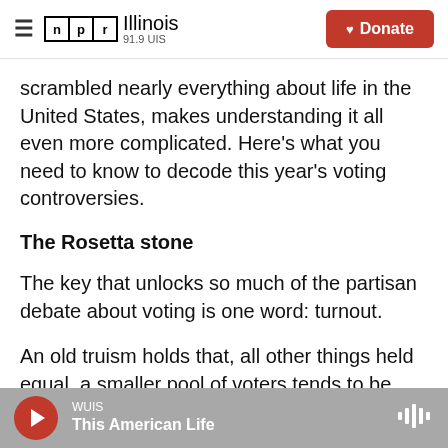NPR Illinois 91.9 UIS | Donate
scrambled nearly everything about life in the United States, makes understanding it all even more complicated. Here's what you need to know to decode this year's voting controversies.
The Rosetta stone
The key that unlocks so much of the partisan debate about voting is one word: turnout.
An old truism holds that, all other things held equal, a smaller pool of voters tends to be better for Republicans and the larger the pool gets, the better for Democrats.
WUIS | This American Life